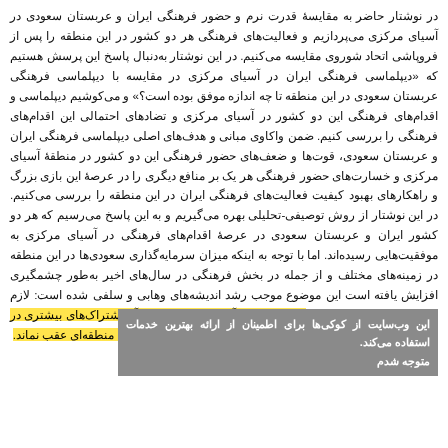در نوشتار حاضر به مقایسهٔ قدرت نرم و حضور فرهنگی ایران و عربستان سعودی در آسیای مرکزی می‌پردازیم و فعالیت‌های فرهنگی هر دو کشور در این منطقه را پس از فروپاشی اتحاد شوروی مقایسه می‌کنیم. در این نوشتار به‌دنبال پاسخ این پرسش هستیم که «دیپلماسی فرهنگی ایران در آسیای مرکزی در مقایسه با دیپلماسی فرهنگی عربستان سعودی در این منطقه تا چه اندازه موفق بوده است؟» و می‌کوشیم دیپلماسی و اقدام‌های فرهنگی این دو کشور در آسیای مرکزی و تضادهای احتمالی این اقدام‌های فرهنگی را بررسی کنیم. ضمن واکاوی مبانی و هدف‌های اصلی دیپلماسی فرهنگی ایران و عربستان سعودی، قوت‌ها و ضعف‌های حضور فرهنگی این دو کشور در منطقهٔ آسیای مرکزی و خسارت‌های حضور فرهنگی هر یک بر منافع دیگری را در عرصهٔ این بازی بزرگ و راهکارهای بهبود کیفیت فعالیت‌های فرهنگی ایران در این منطقه را بررسی می‌کنیم. در این نوشتار از روش توصیفی-تحلیلی بهره می‌گیریم و به این پاسخ می‌رسیم که هر دو کشور ایران و عربستان سعودی در عرصهٔ اقدام‌های فرهنگی در آسیای مرکزی به موفقیت‌هایی رسیده‌اند. اما با توجه به اینکه میزان سرمایه‌گذاری سعودی‌ها در این منطقه در زمینه‌های مختلف و از جمله در بخش فرهنگی در سال‌های اخیر به‌طور چشمگیری افزایش یافته است این موضوع موجب رشد اندیشه‌های وهابی و سلفی شده است: لازم است ایران هم میزان توجه خود به منطقهٔ آسیای مرکزی که با آن اشتراک‌های بیشتری در مقایسه با عربستان سعودی دارد؛ افزایش دهد تا در این رقابت مهم منطقه‌ای عقب نماند.
این وب‌سایت از کوکی‌ها برای اطمینان از ارائه بهترین خدمات استفاده می‌کند.
متوجه شدم